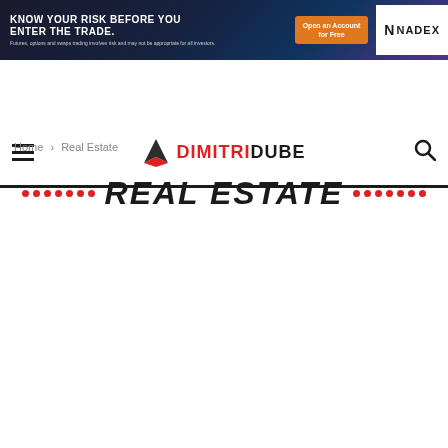[Figure (screenshot): NADEX advertisement banner: 'KNOW YOUR RISK BEFORE YOU ENTER THE TRADE.' with orange 'Open an Account for Free' button and NADEX logo on dark background]
DIMITRIDUBE — navigation bar with hamburger menu and search icon
Home › Real Estate
REAL ESTATE
MOST POPULAR ▾